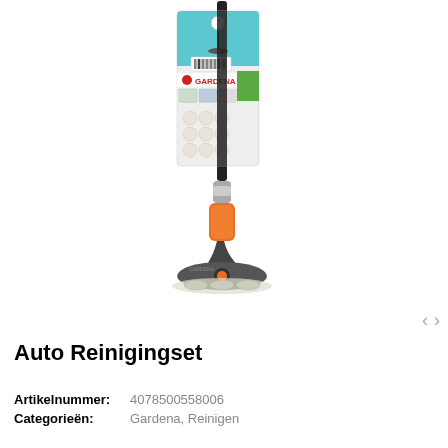[Figure (photo): Gardena Auto Reinigingset product photo showing a long-handled cleaning brush/mop with orange and dark grey connector, flat oval cleaning head at the bottom, and product packaging card attached to the handle showing the Gardena logo and cleaning tablets.]
Auto Reinigingset
Artikelnummer:  4078500558006
Categorieën:  Gardena, Reinigen